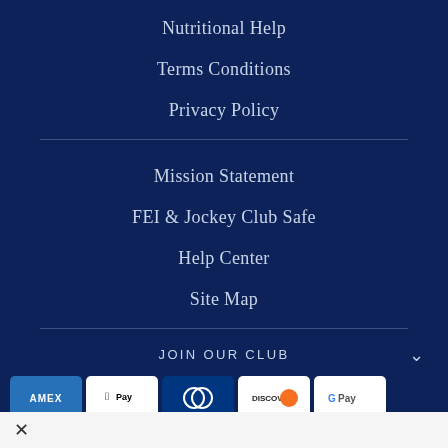Nutritional Help
Terms Conditions
Privacy Policy
Mission Statement
FEI & Jockey Club Safe
Help Center
Site Map
JOIN OUR CLUB
[Figure (other): Payment method icons: Amex, Apple Pay, Diners, Discover, Google Pay, Maestro, Mastercard, PayPal, Shop Pay, Visa]
Chat with us